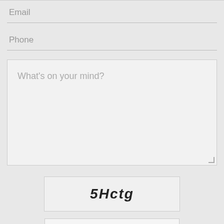Email
Phone
What's on your mind?
5Hctg
Enter Re-Captcha ...